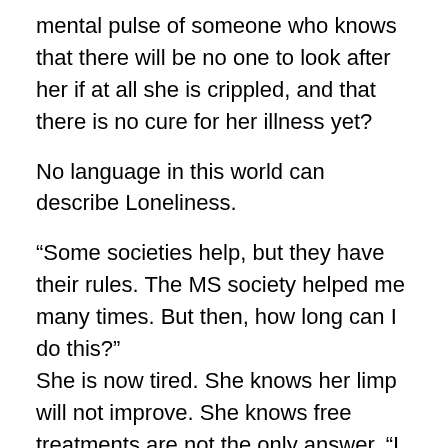mental pulse of someone who knows that there will be no one to look after her if at all she is crippled, and that there is no cure for her illness yet?
No language in this world can describe Loneliness.
“Some societies help, but they have their rules. The MS society helped me many times. But then, how long can I do this?”
She is now tired. She knows her limp will not improve. She knows free treatments are not the only answer. “I feel suicidal often now, I know things will never be my way. Life will always be at the mercy of someone’s help”.
I told her it is common to feel so in MS, and good treatments and counseling can help most patients.
Her reply left me shut: “Sir, I don’t need that. I plan to fight this with my own mind, for I want to survive without any